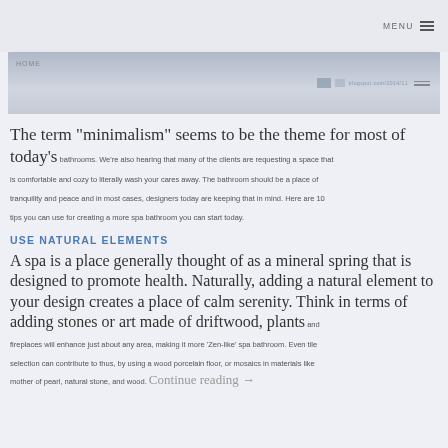MENU
[Figure (screenshot): Partial banner image showing a website header with navigation elements and a faded interior/bathroom photo]
The term "minimalism" seems to be the theme for most of today's bathrooms. We're also hearing that many of the clients are requesting a space that is comfortable and cozy to literally wash your cares away. The bathroom should be a place of tranquility and peace and in most cases, designers today are keeping that in mind. Here are 10 tips you can use for creating a more spa bathroom you can start today.
USE NATURAL ELEMENTS
A spa is a place generally thought of as a mineral spring that is designed to promote health. Naturally, adding a natural element to your design creates a place of calm serenity. Think in terms of adding stones or art made of driftwood, plants and fireplaces will enhance just about any area, making it more 'Zen-like' spa bathroom. Even tile selection can contribute to thus, by using a wood porcelain floor, or mosaics in materials like mother of pearl, natural stone, and wood. Continue reading →